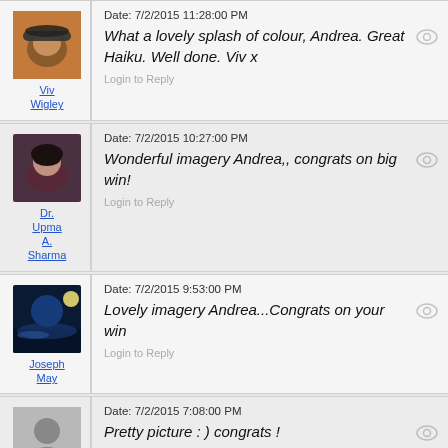Date: 7/2/2015 11:28:00 PM
What a lovely splash of colour, Andrea. Great Haiku. Well done. Viv x
Login to Reply
Viv Wigley
Date: 7/2/2015 10:27:00 PM
Wonderful imagery Andrea,, congrats on big win!
Login to Reply
Dr. Upma A. Sharma
Date: 7/2/2015 9:53:00 PM
Lovely imagery Andrea...Congrats on your win
Login to Reply
Joseph May
Date: 7/2/2015 7:08:00 PM
Pretty picture : ) congrats !